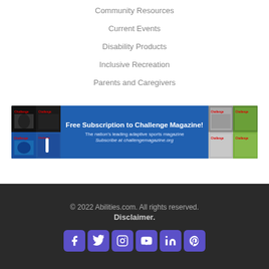Community Resources
Current Events
Disability Products
Inclusive Recreation
Parents and Caregivers
[Figure (infographic): Blue banner advertisement: Free Subscription to Challenge Magazine! The nation's leading adaptive sports magazine. Subscribe at challengemagazine.org]
© 2022 Abilities.com. All rights reserved. Disclaimer.